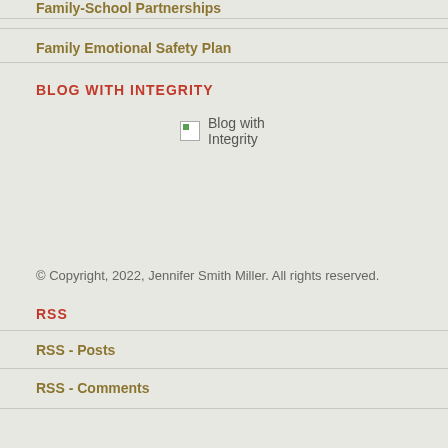Family-School Partnerships
Family Emotional Safety Plan
BLOG WITH INTEGRITY
[Figure (illustration): Broken image placeholder labeled 'Blog with Integrity']
© Copyright, 2022, Jennifer Smith Miller. All rights reserved.
RSS
RSS - Posts
RSS - Comments